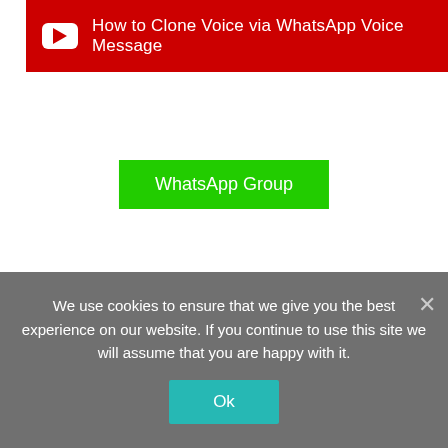[Figure (screenshot): YouTube-style red banner with play icon and text 'How to Clone Voice via WhatsApp Voice Message']
WhatsApp Group
[Figure (other): Hamburger menu button (three horizontal lines) in a bordered box]
We use cookies to ensure that we give you the best experience on our website. If you continue to use this site we will assume that you are happy with it.
Ok